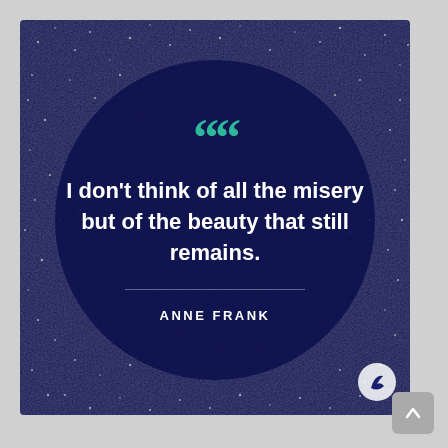[Figure (illustration): A square quote card with a dark navy blue speckled/glitter background. Large teal double quotation marks appear at the top center. Bold white text reads: I don't think of all the misery but of the beauty that still remains. A thin horizontal dividing line separates the quote from the attribution. Below reads: ANNE FRANK in white spaced capital letters. A small logo circle is in the bottom-right corner of the card. A gray rounded-square back-to-top button appears outside the card at bottom right.]